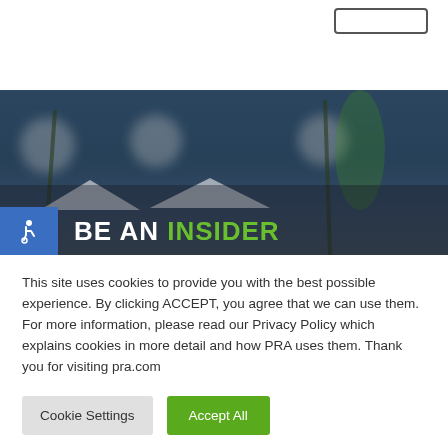[Figure (photo): Hero banner photo of an outdoor evening event/party with people socializing under palm trees and tent canopies. Blue/teal darkened overlay. Bottom-left shows a blue accessibility badge with wheelchair icon. Large text overlay reads 'BE AN INSIDER' in white and green.]
BE AN INSIDER
This site uses cookies to provide you with the best possible experience. By clicking ACCEPT, you agree that we can use them. For more information, please read our Privacy Policy which explains cookies in more detail and how PRA uses them. Thank you for visiting pra.com
Cookie Settings
Accept All